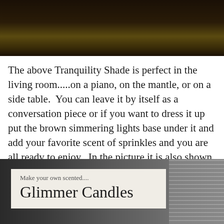[Figure (photo): Dark photograph at the top of the page, possibly showing a candle or lamp with dark background and warm amber glow]
The above Tranquility Shade is perfect in the living room.....on a piano, on the mantle, or on a side table.  You can leave it by itself as a conversation piece or if you want to dress it up put the brown simmering lights base under it and add your favorite scent of sprinkles and you are all ready to enjoy.  In the picture it is also shown paired with the clear Crackled Mirror Glass Shade.
[Figure (photo): Dark photograph at the bottom showing a label box overlay on a dark striped background. Label box reads: 'Make your own scented....' and 'Glimmer Candles']